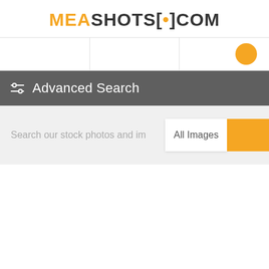MEASHOTS[•]COM
[Figure (screenshot): Website screenshot of MEASHOTS.COM showing navigation tabs with an orange circle icon in top right, an Advanced Search bar with slider icon, a search input for stock photos with All Images dropdown and orange search button, and a Popular sort dropdown with page number 2 at the bottom.]